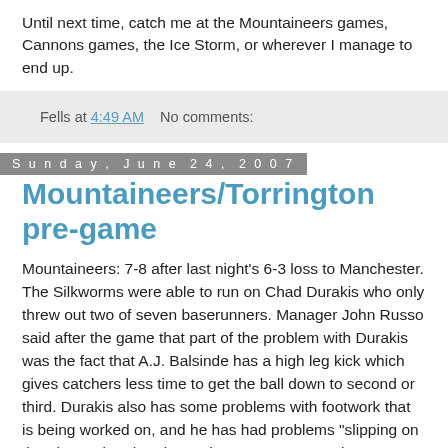Until next time, catch me at the Mountaineers games, Cannons games, the Ice Storm, or wherever I manage to end up.
Fells at 4:49 AM    No comments:
Sunday, June 24, 2007
Mountaineers/Torrington pre-game
Mountaineers: 7-8 after last night’s 6-3 loss to Manchester. The Silkworms were able to run on Chad Durakis who only threw out two of seven baserunners. Manager John Russo said after the game that part of the problem with Durakis was the fact that A.J. Balsinde has a high leg kick which gives catchers less time to get the ball down to second or third. Durakis also has some problems with footwork that is being worked on, and he has had problems “slipping on the plate” when he tries to throw out runners who try to steal.
The Mountaineers should have been able to hit off of